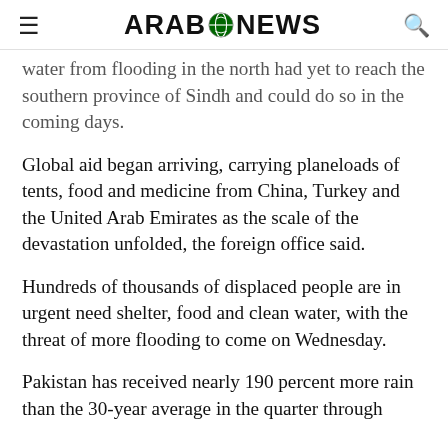≡  ARAB NEWS  🔍
water from flooding in the north had yet to reach the southern province of Sindh and could do so in the coming days.
Global aid began arriving, carrying planeloads of tents, food and medicine from China, Turkey and the United Arab Emirates as the scale of the devastation unfolded, the foreign office said.
Hundreds of thousands of displaced people are in urgent need shelter, food and clean water, with the threat of more flooding to come on Wednesday.
Pakistan has received nearly 190 percent more rain than the 30-year average in the quarter through...